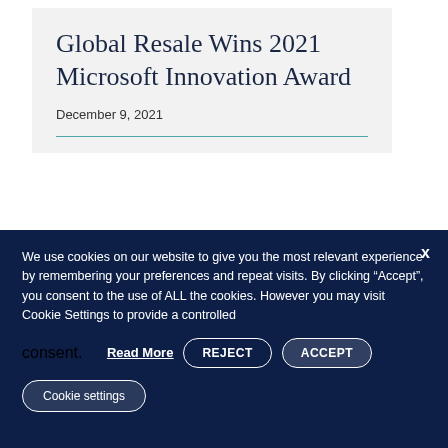Global Resale Wins 2021 Microsoft Innovation Award
December 9, 2021
We use cookies on our website to give you the most relevant experience by remembering your preferences and repeat visits. By clicking “Accept”, you consent to the use of ALL the cookies. However you may visit Cookie Settings to provide a controlled consent. Read More REJECT ACCEPT
Cookie settings